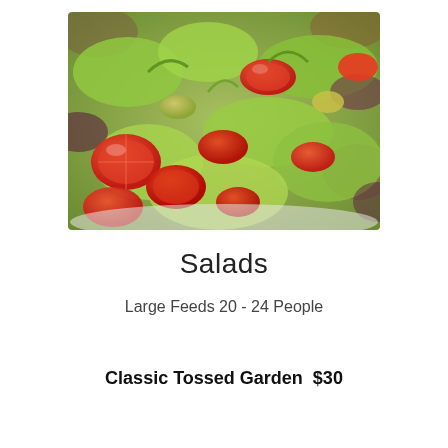[Figure (photo): Close-up photo of a garden salad with cherry tomatoes, mixed greens, lettuce, and avocado in a white bowl.]
Salads
Large Feeds 20 - 24 People
Classic Tossed Garden  $30